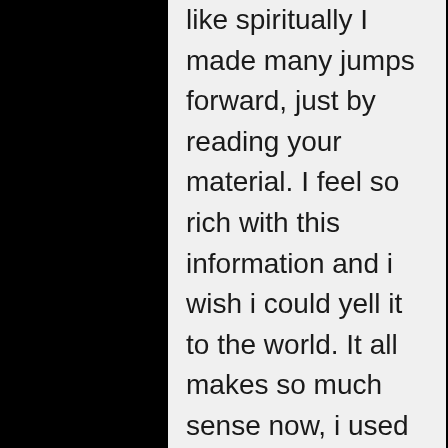like spiritually I made many jumps forward, just by reading your material. I feel so rich with this information and i wish i could yell it to the world. It all makes so much sense now, i used to be scared, stressed, confused and angry all the time, especially since this pandemic. I felt so angry towards all the sleeping people, how easy it was to manipulate them, the